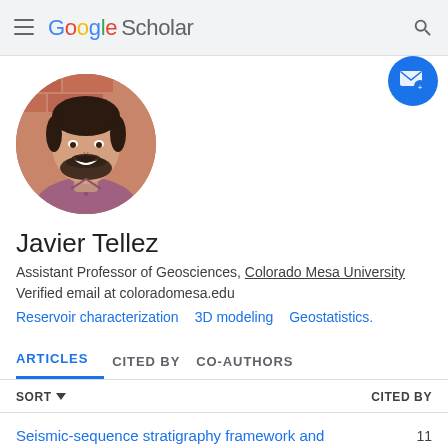Google Scholar
[Figure (photo): Circular profile photo of Javier Tellez, a man with dark hair and beard, smiling, wearing a mauve/purple shirt, with a brick wall background.]
Javier Tellez
Assistant Professor of Geosciences, Colorado Mesa University
Verified email at coloradomesa.edu
Reservoir characterization   3D modeling   Geostatistics.
ARTICLES   CITED BY   CO-AUTHORS
SORT ▾   CITED BY
Seismic-sequence stratigraphy framework and   11